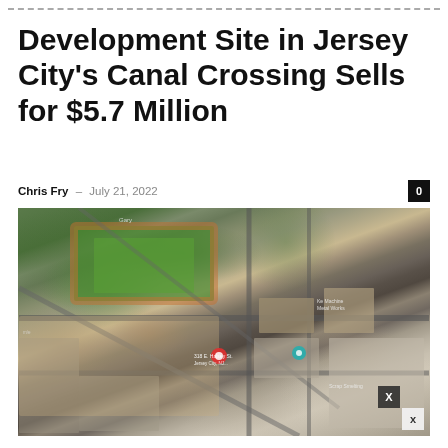Development Site in Jersey City's Canal Crossing Sells for $5.7 Million
Chris Fry – July 21, 2022
[Figure (photo): Aerial Google Maps satellite view of a development site in Jersey City's Canal Crossing neighborhood, showing roads, a sports field, industrial buildings, and a red location pin marker.]